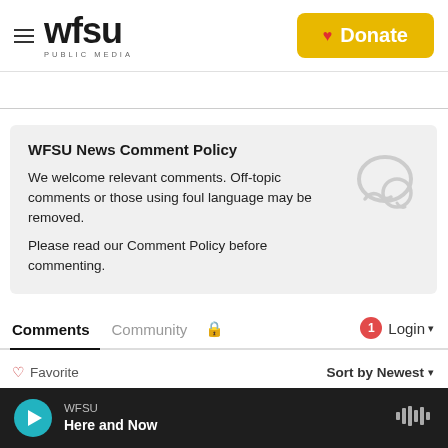[Figure (logo): WFSU Public Media logo with hamburger menu icon]
[Figure (other): Yellow Donate button with red heart icon]
WFSU News Comment Policy
We welcome relevant comments. Off-topic comments or those using foul language may be removed.
Please read our Comment Policy before commenting.
Comments  Community  🔒  1  Login
♡ Favorite     Sort by Newest ▾
[Figure (screenshot): WFSU radio player bar showing Here and Now program with play button and waveform icon]